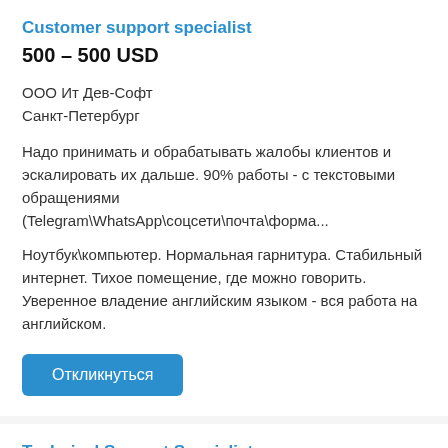Customer support specialist
500 – 500 USD
ООО Ит Дев-Софт
Санкт-Петербург
Надо принимать и обрабатывать жалобы клиентов и эскалировать их дальше. 90% работы - с текстовыми обращениями (Telegram\WhatsApp\соцсети\почта\форма...
Ноутбук\компьютер. Нормальная гарнитура. Стабильный интернет. Тихое помещение, где можно говорить. Уверенное владение английским языком - вся работа на английском.
Откликнуться
Technical Support Specialist
45 000 – 65 000 руб.
Lanck Telecom ✓
Санкт-Петербург